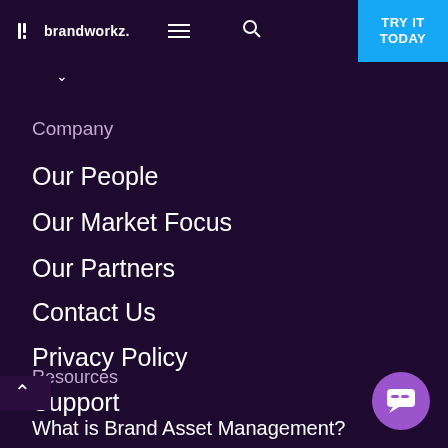brandworkz. [menu icon] [search icon] TRY IT TODAY
Company
Our People
Our Market Focus
Our Partners
Contact Us
Privacy Policy
Support
Resources
What is Brand Asset Management?